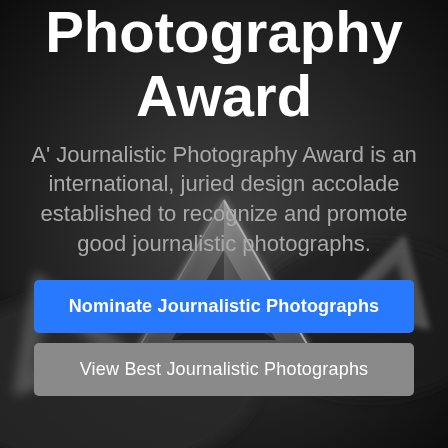[Figure (photo): Black and white photo of a metallic award trophy (triangular geometric shape) on a dark background, serving as the page background]
Photography Award
A' Journalistic Photography Award is an international, juried design accolade established to recognize and promote good journalistic photographs.
Nominate Journalistic Photographs
View Best Journalistic Photographs